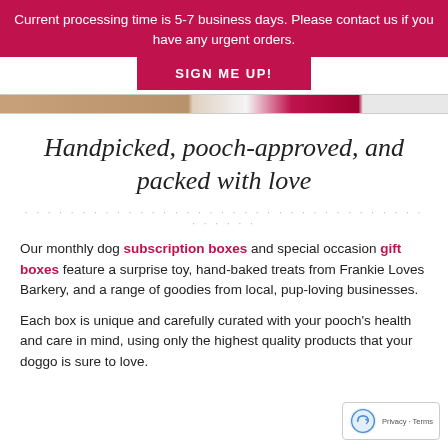Current processing time is 5-7 business days. Please contact us if you have any urgent orders.
SIGN ME UP!
[Figure (photo): Partial image strip showing dog treats/products in red and brown tones]
Handpicked, pooch-approved, and packed with love
Our monthly dog subscription boxes and special occasion gift boxes feature a surprise toy, hand-baked treats from Frankie Loves Barkery, and a range of goodies from local, pup-loving businesses.
Each box is unique and carefully curated with your pooch's health and care in mind, using only the highest quality products that your doggo is sure to love.